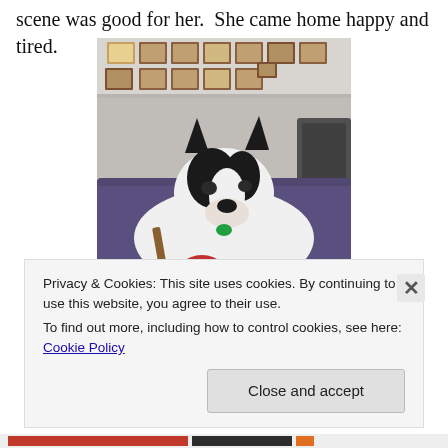scene was good for her.  She came home happy and tired.
[Figure (photo): A black and white dog lying on a purple/navy blanket or mat, resting its head near a red toy, in a room with framed certificates/pictures on the wall in the background.]
Privacy & Cookies: This site uses cookies. By continuing to use this website, you agree to their use.
To find out more, including how to control cookies, see here: Cookie Policy